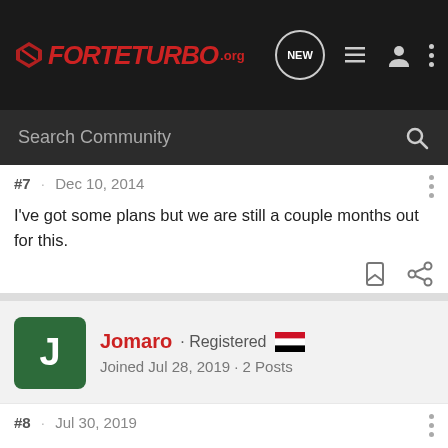ForteTurbo.org
Search Community
#7 · Dec 10, 2014
I've got some plans but we are still a couple months out for this.
Jomaro · Registered
Joined Jul 28, 2019 · 2 Posts
#8 · Jul 30, 2019